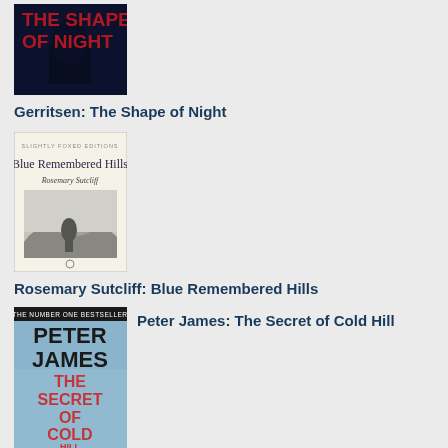[Figure (photo): Book cover: The Shape of Night by Tess Gerritsen. Dark background with red text.]
Gerritsen: The Shape of Night
[Figure (photo): Book cover: Blue Remembered Hills by Rosemary Sutcliff. Light background with grayscale landscape image.]
Rosemary Sutcliff: Blue Remembered Hills
[Figure (photo): Book cover: The Secret of Cold Hill by Peter James. Blue/icy background with bold text.]
Peter James: The Secret of Cold Hill